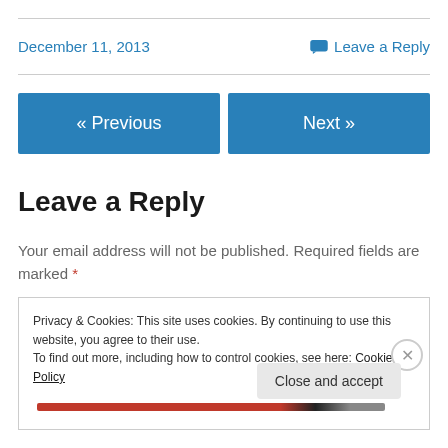December 11, 2013
Leave a Reply
« Previous
Next »
Leave a Reply
Your email address will not be published. Required fields are marked *
Privacy & Cookies: This site uses cookies. By continuing to use this website, you agree to their use.
To find out more, including how to control cookies, see here: Cookie Policy
Close and accept